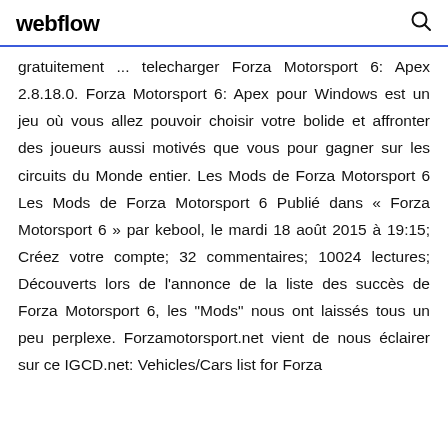webflow
gratuitement ... telecharger Forza Motorsport 6: Apex 2.8.18.0. Forza Motorsport 6: Apex pour Windows est un jeu où vous allez pouvoir choisir votre bolide et affronter des joueurs aussi motivés que vous pour gagner sur les circuits du Monde entier. Les Mods de Forza Motorsport 6 Les Mods de Forza Motorsport 6 Publié dans « Forza Motorsport 6 » par kebool, le mardi 18 août 2015 à 19:15; Créez votre compte; 32 commentaires; 10024 lectures; Découverts lors de l'annonce de la liste des succès de Forza Motorsport 6, les "Mods" nous ont laissés tous un peu perplexe. Forzamotorsport.net vient de nous éclairer sur ce IGCD.net: Vehicles/Cars list for Forza